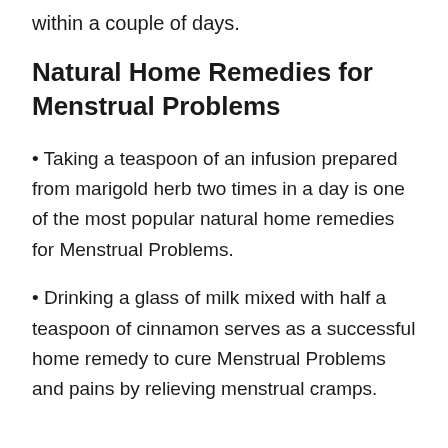within a couple of days.
Natural Home Remedies for Menstrual Problems
Taking a teaspoon of an infusion prepared from marigold herb two times in a day is one of the most popular natural home remedies for Menstrual Problems.
Drinking a glass of milk mixed with half a teaspoon of cinnamon serves as a successful home remedy to cure Menstrual Problems and pains by relieving menstrual cramps.